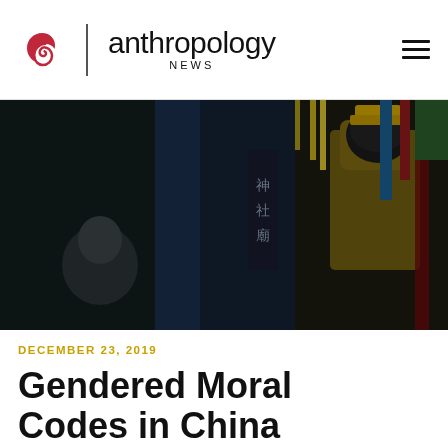anthropology NEWS
[Figure (photo): Dark interior of a Chinese temple with a person and ornate deity statue with colored decorations and Chinese calligraphy banners]
DECEMBER 23, 2019
Gendered Moral Codes in China